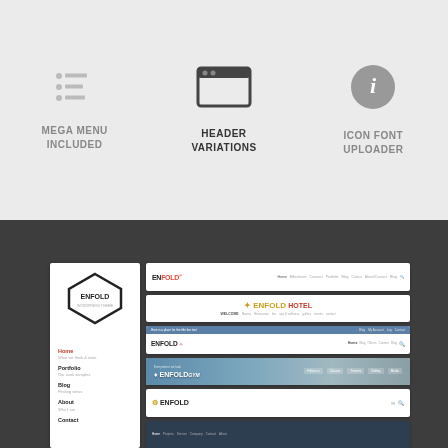[Figure (infographic): Three feature icons with labels: MEGA MENU INCLUDED (list icon), HEADER VARIATIONS (browser window icon, highlighted), ICON FONT UPLOADER (info circle icon)]
[Figure (screenshot): Screenshots of Enfold WordPress theme showing various header layout variations: sidebar navigation and multiple header bar styles including hotel, split, image, and dark header variations]